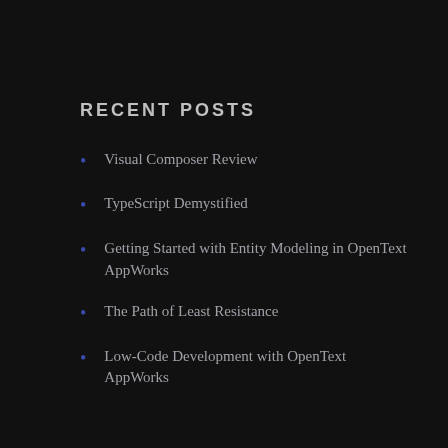RECENT POSTS
Visual Composer Review
TypeScript Demystified
Getting Started with Entity Modeling in OpenText AppWorks
The Path of Least Resistance
Low-Code Development with OpenText AppWorks